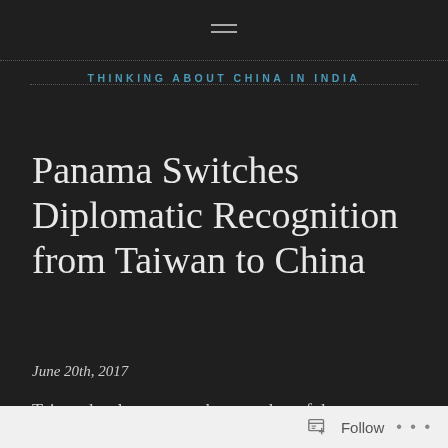THINKING ABOUT CHINA IN INDIA
Panama Switches Diplomatic Recognition from Taiwan to China
June 20th, 2017
Taiwan has lost yet another member of the